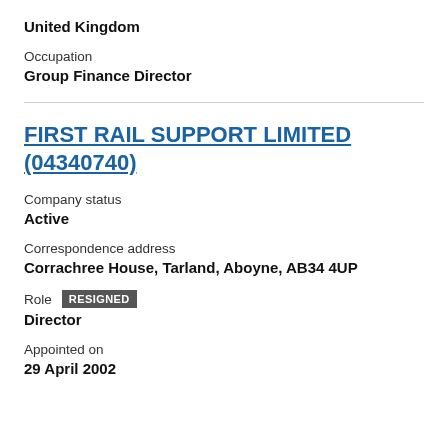United Kingdom
Occupation
Group Finance Director
FIRST RAIL SUPPORT LIMITED (04340740)
Company status
Active
Correspondence address
Corrachree House, Tarland, Aboyne, AB34 4UP
Role  RESIGNED
Director
Appointed on
29 April 2002